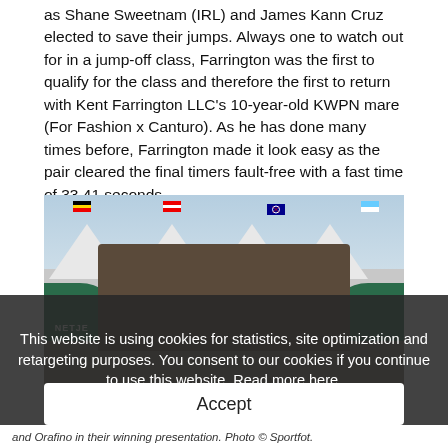as Shane Sweetnam (IRL) and James Kann Cruz elected to save their jumps. Always one to watch out for in a jump-off class, Farrington was the first to qualify for the class and therefore the first to return with Kent Farrington LLC's 10-year-old KWPN mare (For Fashion x Canturo). As he has done many times before, Farrington made it look easy as the pair cleared the final timers fault-free with a fast time of 33.41 seconds.
[Figure (photo): Photo of a rider on a dark horse in an equestrian arena with white tents, flags, and green branded barriers in the background. Two men stand beside the horse.]
This website is using cookies for statistics, site optimization and retargeting purposes. You consent to our cookies if you continue to use this website. Read more here.
Accept
and Orafino in their winning presentation. Photo © Sportfot.